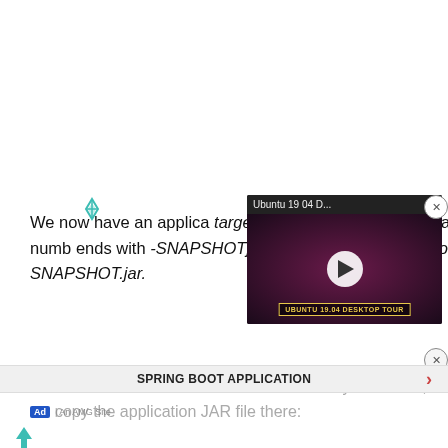We now have an application JAR file in the target directory. That file is named after the name and version number given in pom.xml and ends with -SNAPSHOT.jar, so the full name would be docker-spring-boot-postgres-0.0.1-SNAPSHOT.jar.
[Figure (screenshot): Video overlay showing Ubuntu 19 04 Desktop Tour with play button and yellow label 'UBUNTU 19.04 DESKTOP TOUR']
Let's make the new src/main/docker directory. After that, we copy the application JAR file there:
SPRING BOOT APPLICATION
Ad | An AMG Site